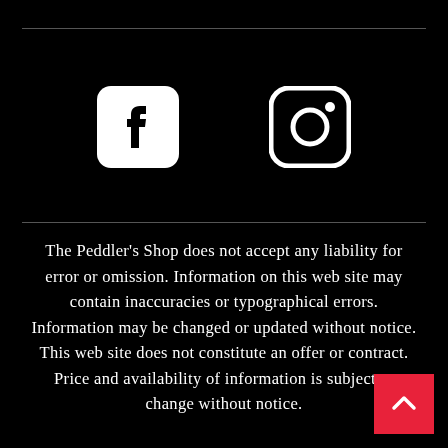[Figure (logo): Facebook logo icon (white rounded square with white 'f' letterform)]
[Figure (logo): Instagram logo icon (white rounded square outline with camera circle and dot)]
The Peddler's Shop does not accept any liability for error or omission. Information on this web site may contain inaccuracies or typographical errors. Information may be changed or updated without notice. This web site does not constitute an offer or contract. Price and availability of information is subject to change without notice.